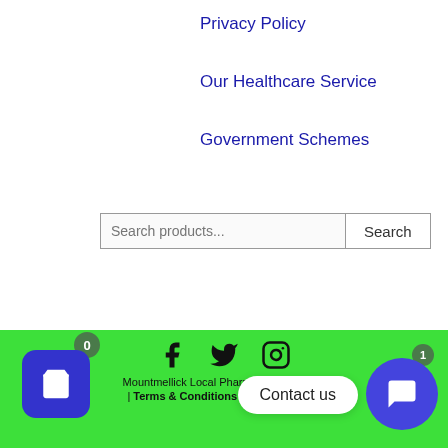Privacy Policy
Our Healthcare Service
Government Schemes
Search products... [Search]
EUR
Mountmellick Local Pharmacy | De... | Terms & Conditions | Privacy Policy